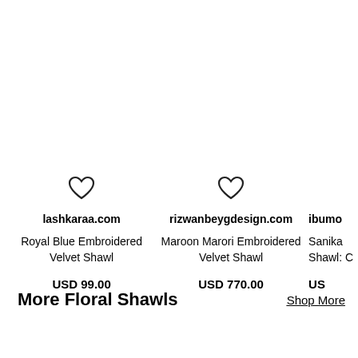[Figure (screenshot): Product listing page showing embroidered velvet shawls from multiple websites with heart/wishlist icons, site names, product titles, and prices.]
lashkaraa.com
Royal Blue Embroidered Velvet Shawl
USD 99.00
rizwanbeygdesign.com
Maroon Marori Embroidered Velvet Shawl
USD 770.00
ibumo
Sanika Shawl: C
US
More Floral Shawls
Shop More